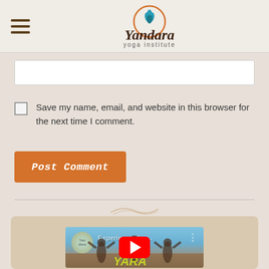[Figure (logo): Yandara Yoga Institute logo with lotus flower and circular orange design, hamburger menu icon on left]
[Figure (screenshot): Text input field (white rectangle)]
Save my name, email, and website in this browser for the next time I comment.
[Figure (other): Post Comment button in orange]
[Figure (screenshot): YouTube video thumbnail showing Experience Yan... with play button and people on beach]